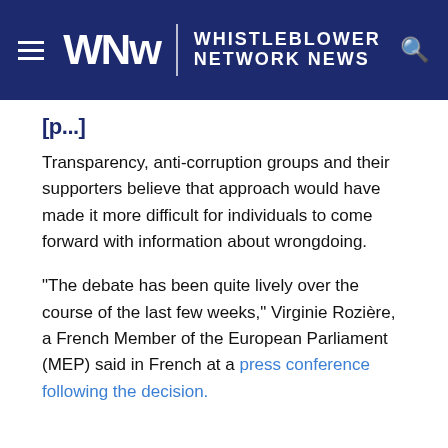Whistleblower Network News
Transparency, anti-corruption groups and their supporters believe that approach would have made it more difficult for individuals to come forward with information about wrongdoing.
“The debate has been quite lively over the course of the last few weeks,” Virginie Rozière, a French Member of the European Parliament (MEP) said in French at a press conference following the decision.